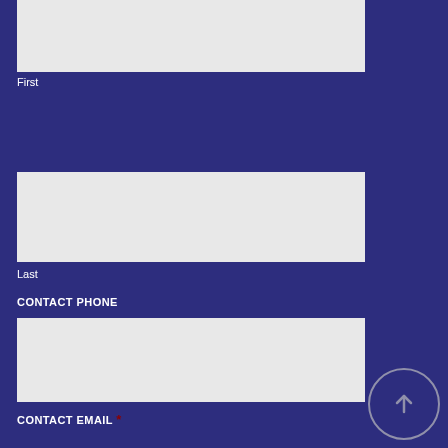First
Last
CONTACT PHONE
CONTACT EMAIL *
YOUR COMPANY/ORG *
WHAT IS YOUR ROLE? *